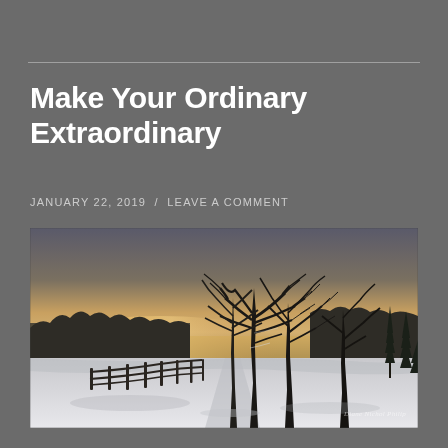Make Your Ordinary Extraordinary
JANUARY 22, 2019  /  LEAVE A COMMENT
[Figure (photo): Winter landscape photograph showing snow-covered ground with bare deciduous trees lining a path, a wooden fence on the left, dense evergreen forest in the background, and a warm golden sunset sky. Small watermark text visible in bottom-right corner.]